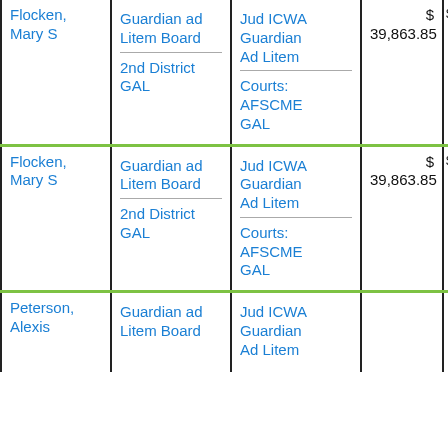| Name | Board/District | Role | Amount |  |
| --- | --- | --- | --- | --- |
| Flocken, Mary S | Guardian ad Litem Board / 2nd District GAL | Jud ICWA Guardian Ad Litem / Courts: AFSCME GAL | $ 39,863.85 |  |
| Flocken, Mary S | Guardian ad Litem Board / 2nd District GAL | Jud ICWA Guardian Ad Litem / Courts: AFSCME GAL | $ 39,863.85 |  |
| Peterson, Alexis | Guardian ad Litem Board | Jud ICWA Guardian Ad Litem |  |  |